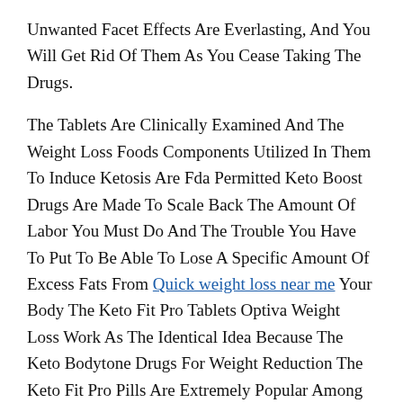Unwanted Facet Effects Are Everlasting, And You Will Get Rid Of Them As You Cease Taking The Drugs.
The Tablets Are Clinically Examined And The Weight Loss Foods Components Utilized In Them To Induce Ketosis Are Fda Permitted Keto Boost Drugs Are Made To Scale Back The Amount Of Labor You Must Do And The Trouble You Have To Put To Be Able To Lose A Specific Amount Of Excess Fats From Quick weight loss near me Your Body The Keto Fit Pro Tablets Optiva Weight Loss Work As The Identical Idea Because The Keto Bodytone Drugs For Weight Reduction The Keto Fit Pro Pills Are Extremely Popular Among The Many Keto Diet Fanatics And Is Talked Jonah Hill Weight Loss About A Number Of Times In Varied Well Known Keto Lifestyle Blogs Many Supplements Obtainable For Weight Reduction Available Within The Market Have A Very Common Con To Them